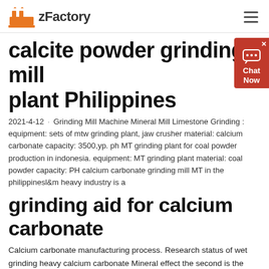zFactory
calcite powder grinding mill plant Philippines
2021-4-12 · Grinding Mill Machine Mineral Mill Limestone Grinding : equipment: sets of mtw grinding plant, jaw crusher material: calcium carbonate capacity: 3500,yp. ph MT grinding plant for coal powder production in indonesia. equipment: MT grinding plant material: coal powder capacity: PH calcium carbonate grinding mill MT in the philippinesl&m heavy industry is a
grinding aid for calcium carbonate
Calcium carbonate manufacturing process. Research status of wet grinding heavy calcium carbonate Mineral effect the second is the slurry rheology adjustment doctrine headed by Krampal which believes that the grinding aid can adjust the fluidity of the slurry between the particles between the particles and the grinding medium and the liner Reunion and